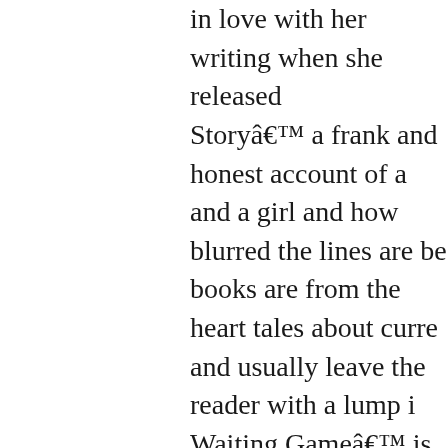in love with her writing when she released Storyâ€™ a frank and honest account of a and a girl and how blurred the lines are be books are from the heart tales about curre and usually leave the reader with a lump i Waiting Gameâ€™ is no different.
In this story, we meet Nessa Bruce, a quie has committed her life to her husband and on her dream of becoming a midwife, she follow his dreams of becoming a solider an complete from Afghanistan so he can retur complete. Whilst she waits for him, she ha ungrateful daughter Poppy, who openly loc worry about finances, as she struggles wit provide for her high maintenance daughter enough for the stroppy teenager. But one d that she has always feared, that Jake has